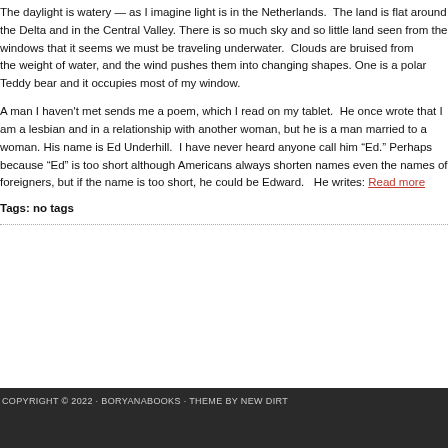The daylight is watery — as I imagine light is in the Netherlands. The land is flat around the Delta and in the Central Valley. There is so much sky and so little land seen from the windows that it seems we must be traveling underwater. Clouds are bruised from the weight of water, and the wind pushes them into changing shapes. One is a polar Teddy bear and it occupies most of my window.
A man I haven't met sends me a poem, which I read on my tablet. He once wrote that I am a lesbian and in a relationship with another woman, but he is a man married to a woman. His name is Ed Underhill. I have never heard anyone call him "Ed." Perhaps because "Ed" is too short although Americans always shorten names even the names of foreigners, but if the name is too short, he could be Edward. He writes: Read more
Tags: no tags
COPYRIGHT © 2022 · BORYANABOOKS · THEME BY NEW DIRT